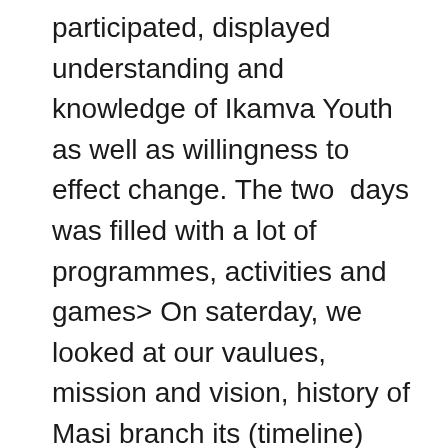participated, displayed understanding and knowledge of Ikamva Youth as well as willingness to effect change. The two  days was filled with a lot of programmes, activities and games> On saterday, we looked at our vaulues, mission and vision, history of Masi branch its (timeline) then later on moved on to vision and time management. Lunch time came, and after that we focused on the swot analysis and looked at what the promblems a we face as a branch, our learners voiced themsleves and expressed their concerns but they excellently came up with solutions with the help fronm our tutors as well.
We closed our Saturday session on a high note